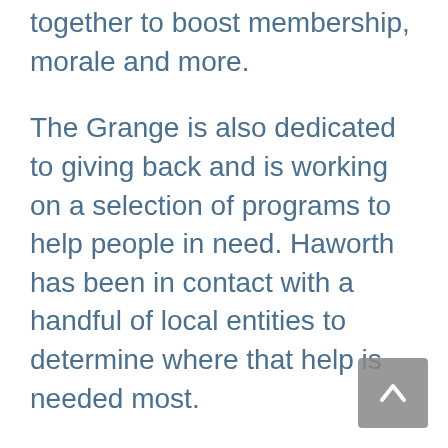together to boost membership, morale and more.
The Grange is also dedicated to giving back and is working on a selection of programs to help people in need. Haworth has been in contact with a handful of local entities to determine where that help is needed most.
Charitable work is the root focus of granges across the nation, with members giving countless volunteer hours to raise funds for important causes, including local education. Haworth encourages any community members who see, hear or know of anyone in need of a helping hand to